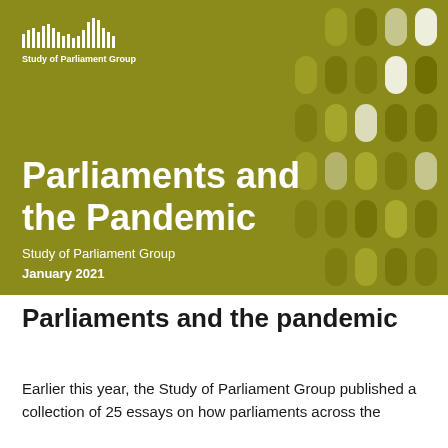[Figure (illustration): Cover image of the 'Parliaments and the Pandemic' report by the Study of Parliament Group, January 2021. Olive/khaki green background with decorative rounded dot pattern in the upper right. Includes the Study of Parliament Group logo (parliament building silhouette) at top left, large white bold title text 'Parliaments and the Pandemic', and subtitle 'Study of Parliament Group January 2021'.]
Parliaments and the pandemic
Earlier this year, the Study of Parliament Group published a collection of 25 essays on how parliaments across the